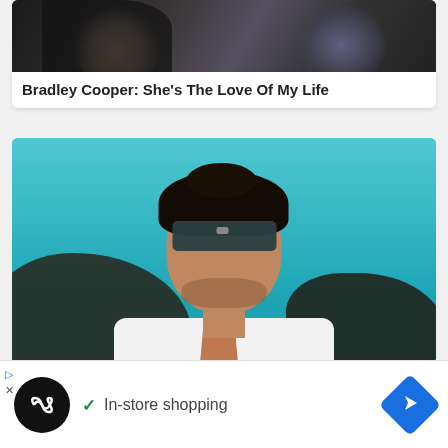[Figure (photo): Cropped photo of two people (partially visible heads/shoulders) against dark background - top portion of article card]
Bradley Cooper: She's The Love Of My Life
[Figure (photo): Man with dark hair and sunglasses wearing an open white shirt, standing against a turquoise sea and rock background]
6 Most Loved An... nema
[Figure (screenshot): Video ad overlay showing 'Ad 1/2 00:10' badge and 'Learn More' button with SimpliSafe branding]
✓ In-store shopping